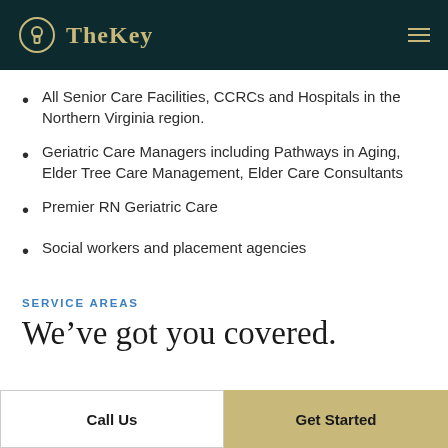TheKey
All Senior Care Facilities, CCRCs and Hospitals in the Northern Virginia region.
Geriatric Care Managers including Pathways in Aging, Elder Tree Care Management, Elder Care Consultants
Premier RN Geriatric Care
Social workers and placement agencies
SERVICE AREAS
We’ve got you covered.
Call Us
Get Started